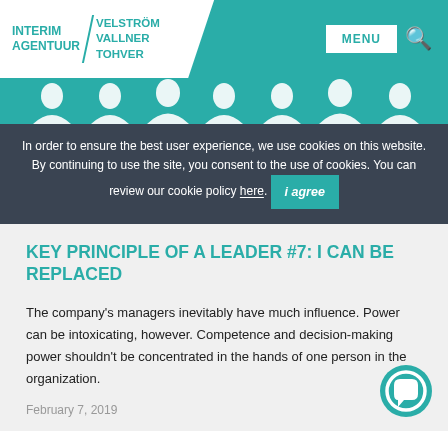INTERIM AGENTUUR / VELSTRÖM VALLNER TOHVER — MENU
[Figure (illustration): Teal banner with white silhouettes of people standing in a row]
In order to ensure the best user experience, we use cookies on this website. By continuing to use the site, you consent to the use of cookies. You can review our cookie policy here.
KEY PRINCIPLE OF A LEADER #7: I CAN BE REPLACED
The company's managers inevitably have much influence. Power can be intoxicating, however. Competence and decision-making power shouldn't be concentrated in the hands of one person in the organization.
February 7, 2019